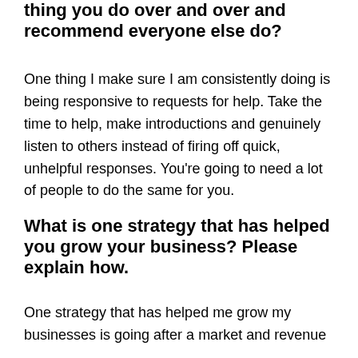thing you do over and over and recommend everyone else do?
One thing I make sure I am consistently doing is being responsive to requests for help. Take the time to help, make introductions and genuinely listen to others instead of firing off quick, unhelpful responses. You're going to need a lot of people to do the same for you.
What is one strategy that has helped you grow your business? Please explain how.
One strategy that has helped me grow my businesses is going after a market and revenue